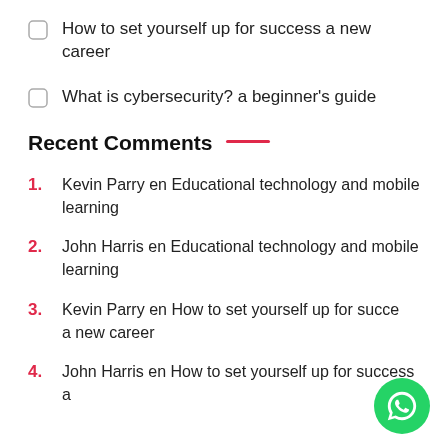How to set yourself up for success a new career
What is cybersecurity? a beginner's guide
Recent Comments
1. Kevin Parry en Educational technology and mobile learning
2. John Harris en Educational technology and mobile learning
3. Kevin Parry en How to set yourself up for success a new career
4. John Harris en How to set yourself up for success a